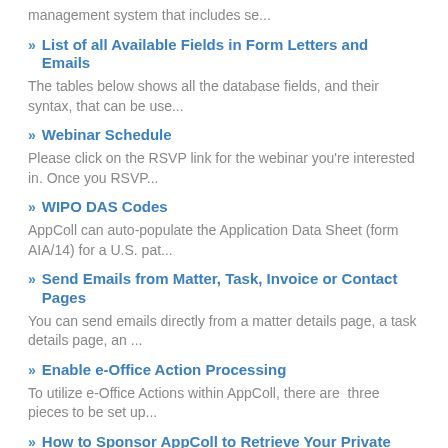management system that includes se...
List of all Available Fields in Form Letters and Emails
The tables below shows all the database fields, and their syntax, that can be use...
Webinar Schedule
Please click on the RSVP link for the webinar you're interested in. Once you RSVP...
WIPO DAS Codes
AppColl can auto-populate the Application Data Sheet (form AIA/14) for a U.S. pat...
Send Emails from Matter, Task, Invoice or Contact Pages
You can send emails directly from a matter details page, a task details page, an ...
Enable e-Office Action Processing
To utilize e-Office Actions within AppColl, there are  three pieces to be set up...
How to Sponsor AppColl to Retrieve Your Private Pair Data (w/ Video)